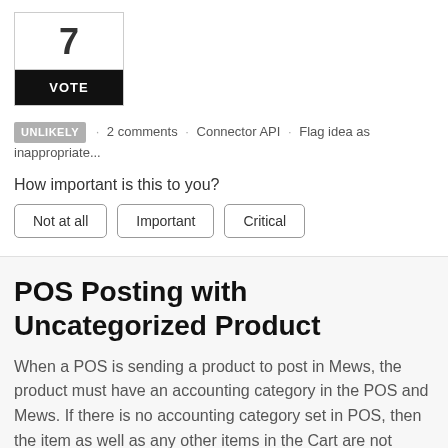7
VOTE
UNLIKELY · 2 comments · Connector API · Flag idea as inappropriate...
How important is this to you?
Not at all
Important
Critical
POS Posting with Uncategorized Product
When a POS is sending a product to post in Mews, the product must have an accounting category in the POS and Mews. If there is no accounting category set in POS, then the item as well as any other items in the Cart are not posted in Mews.